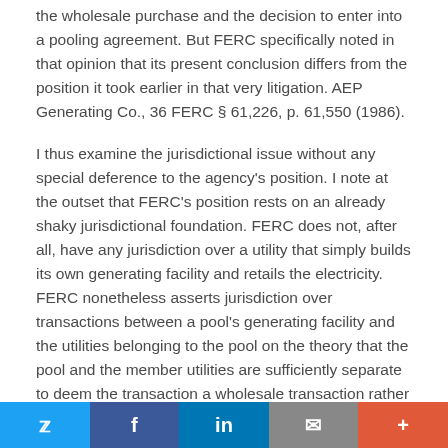the wholesale purchase and the decision to enter into a pooling agreement. But FERC specifically noted in that opinion that its present conclusion differs from the position it took earlier in that very litigation. AEP Generating Co., 36 FERC § 61,226, p. 61,550 (1986).
I thus examine the jurisdictional issue without any special deference to the agency's position. I note at the outset that FERC's position rests on an already shaky jurisdictional foundation. FERC does not, after all, have any jurisdiction over a utility that simply builds its own generating facility and retails the electricity. FERC nonetheless asserts jurisdiction over transactions between a pool's generating facility and the utilities belonging to the pool on the theory that the pool and the member utilities are sufficiently separate to deem the transaction a wholesale transaction rather than an internal transfer. In some tension with this
Twitter | Facebook | LinkedIn | Email | More